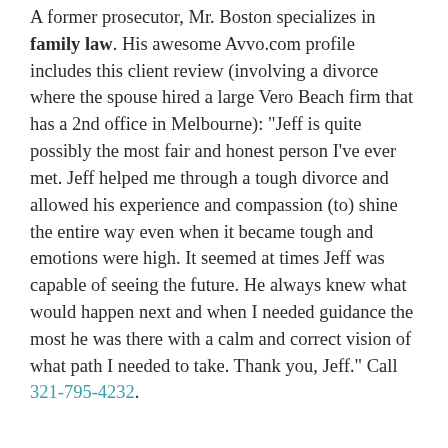A former prosecutor, Mr. Boston specializes in family law. His awesome Avvo.com profile includes this client review (involving a divorce where the spouse hired a large Vero Beach firm that has a 2nd office in Melbourne): "Jeff is quite possibly the most fair and honest person I've ever met. Jeff helped me through a tough divorce and allowed his experience and compassion (to) shine the entire way even when it became tough and emotions were high. It seemed at times Jeff was capable of seeing the future. He always knew what would happen next and when I needed guidance the most he was there with a calm and correct vision of what path I needed to take. Thank you, Jeff." Call 321-795-4232.